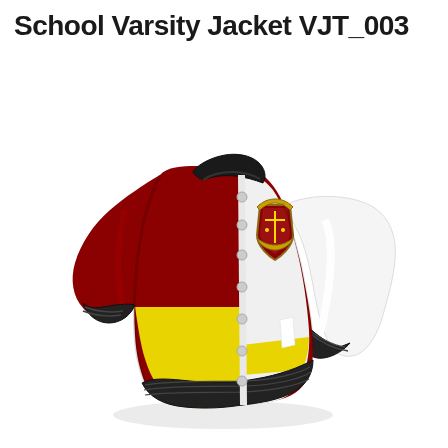School Varsity Jacket VJT_003
[Figure (illustration): 3D rendered school varsity jacket (model VJT_003) with maroon/burgundy left side body, white right side and sleeves, yellow bottom band and lower left panel, black collar and cuffs/hem ribbing, snap buttons down the front, a school crest/shield badge on the upper right chest, and white pocket accent stripe on the right side.]